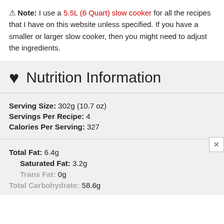Note: I use a 5.5L (6 Quart) slow cooker for all the recipes that I have on this website unless specified. If you have a smaller or larger slow cooker, then you might need to adjust the ingredients.
Nutrition Information
Serving Size: 302g (10.7 oz)
Servings Per Recipe: 4
Calories Per Serving: 327
Total Fat: 6.4g
Saturated Fat: 3.2g
Trans Fat: 0g
Total Carbohydrate: 58.6g